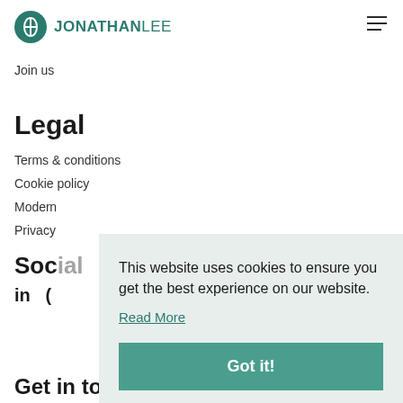JONATHAN LEE
Join us
Legal
Terms & conditions
Cookie policy
Mode...
Priva...
Soc...
in (
Get in touch
This website uses cookies to ensure you get the best experience on our website. Read More
Got it!